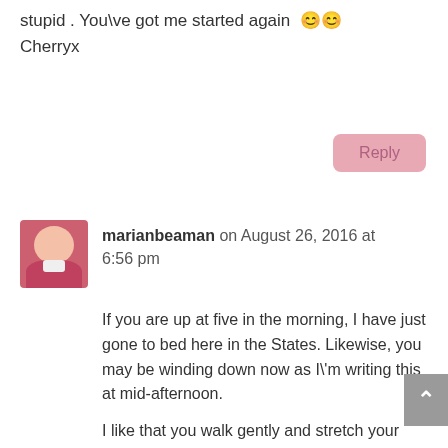stupid . You\'ve got me started again 😊😊 Cherryx
Reply
marianbeaman on August 26, 2016 at 6:56 pm
If you are up at five in the morning, I have just gone to bed here in the States. Likewise, you may be winding down now as I\'m writing this at mid-afternoon.
I like that you walk gently and stretch your limbs with yoga. I usually do Pilates on Tuesday and today I started back with PowerPump – no need to do that what with heaving boxes and lifting light pieces of furniture lately.